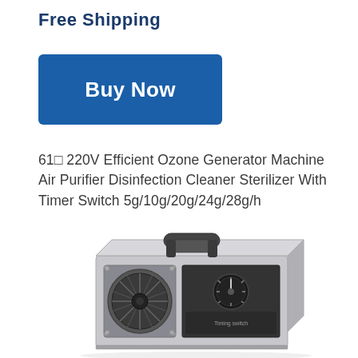Free Shipping
[Figure (other): Blue 'Buy Now' button]
61□ 220V Efficient Ozone Generator Machine Air Purifier Disinfection Cleaner Sterilizer With Timer Switch 5g/10g/20g/24g/28g/h
[Figure (photo): Photo of an ozone generator machine with a metal casing, fan grille on the left, and a dial/timer switch on the right panel.]